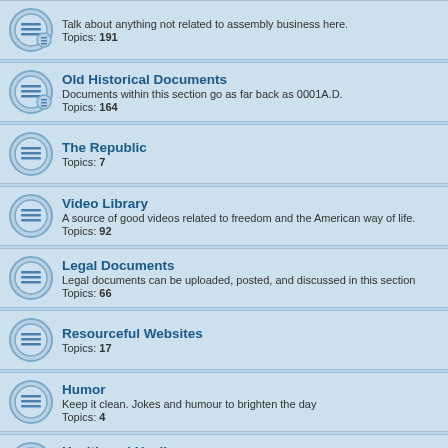Talk about anything not related to assembly business here. Topics: 191
Old Historical Documents - Documents within this section go as far back as 0001A.D. Topics: 164
The Republic - Topics: 7
Video Library - A source of good videos related to freedom and the American way of life. Topics: 92
Legal Documents - Legal documents can be uploaded, posted, and discussed in this section Topics: 66
Resourceful Websites - Topics: 17
Humor - Keep it clean. Jokes and humour to brighten the day Topics: 4
Health and Healing - Discussions and tips for alternative medicine and healthy living. Topics: 13
In the Kitchen - Recipes and cooking tips for healthy living. Topics: 2
Alternative Energy and Hidden Tech.